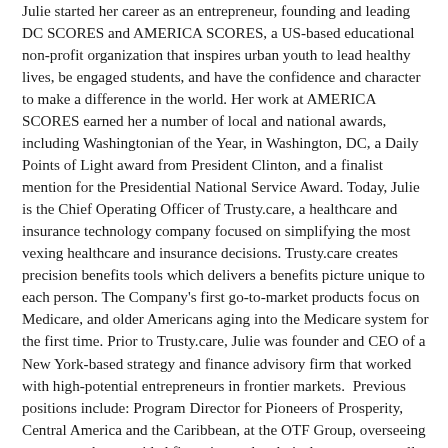Julie started her career as an entrepreneur, founding and leading DC SCORES and AMERICA SCORES, a US-based educational non-profit organization that inspires urban youth to lead healthy lives, be engaged students, and have the confidence and character to make a difference in the world. Her work at AMERICA SCORES earned her a number of local and national awards, including Washingtonian of the Year, in Washington, DC, a Daily Points of Light award from President Clinton, and a finalist mention for the Presidential National Service Award. Today, Julie is the Chief Operating Officer of Trusty.care, a healthcare and insurance technology company focused on simplifying the most vexing healthcare and insurance decisions. Trusty.care creates precision benefits tools which delivers a benefits picture unique to each person. The Company's first go-to-market products focus on Medicare, and older Americans aging into the Medicare system for the first time. Prior to Trusty.care, Julie was founder and CEO of a New York-based strategy and finance advisory firm that worked with high-potential entrepreneurs in frontier markets.  Previous positions include: Program Director for Pioneers of Prosperity, Central America and the Caribbean, at the OTF Group, overseeing a program that provided financing and technical support to small and medium-sized enterprises across the region; Director of